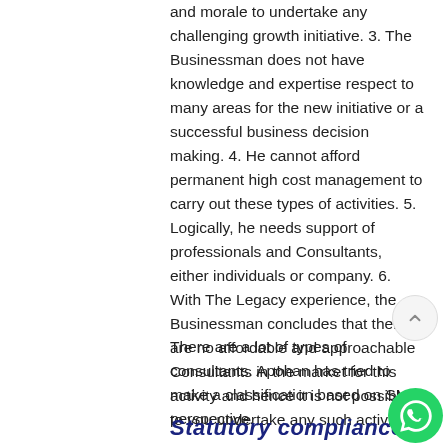and morale to undertake any challenging growth initiative. 3. The Businessman does not have knowledge and expertise respect to many areas for the new initiative or a successful business decision making. 4. He cannot afford permanent high cost management to carry out these types of activities. 5. Logically, he needs support of professionals and Consultants, either individuals or company. 6. With The Legacy experience, the Businessman concludes that there are no affordable and approachable Consultants in the market for this activity and hence it is not possible to you undertake any such activity.
There are a lot of types of consultants. Apohan has tried to make a classification based on SME perspective.
Statutory compliance